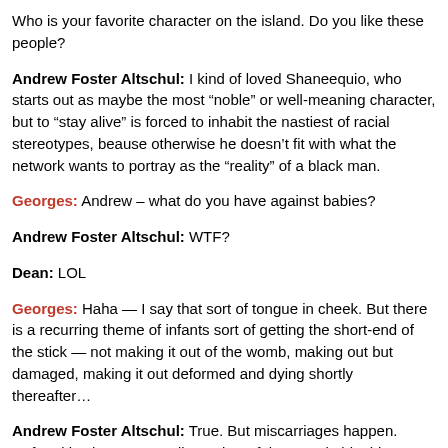Who is your favorite character on the island. Do you like these people?
Andrew Foster Altschul: I kind of loved Shaneequio, who starts out as maybe the most “noble” or well-meaning character, but to “stay alive” is forced to inhabit the nastiest of racial stereotypes, beause otherwise he doesn’t fit with what the network wants to portray as the “reality” of a black man.
Georges: Andrew – what do you have against babies?
Andrew Foster Altschul: WTF?
Dean: LOL
Georges: Haha — I say that sort of tongue in cheek. But there is a recurring theme of infants sort of getting the short-end of the stick — not making it out of the womb, making out but damaged, making it out deformed and dying shortly thereafter…
Andrew Foster Altschul: True. But miscarriages happen. Deformities happen. Really tragic awful unspeakable things happen